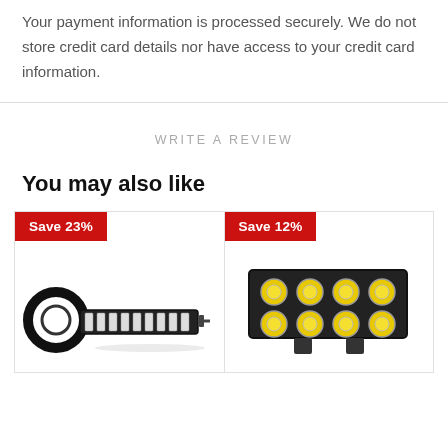Your payment information is processed securely. We do not store credit card details nor have access to your credit card information.
WRITE A REVIEW
You may also like
[Figure (photo): LED light bar product with circular mount, Save 23% badge]
[Figure (photo): LED light block/bar product, Save 12% badge, partially visible]